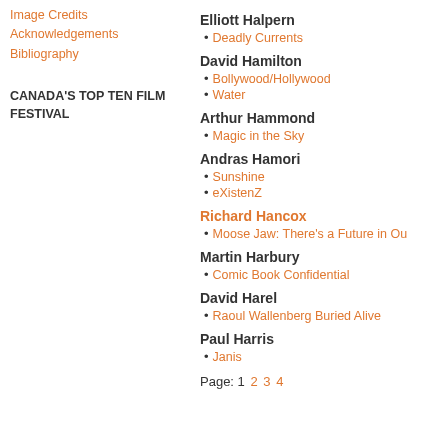Image Credits
Acknowledgements
Bibliography
CANADA'S TOP TEN FILM FESTIVAL
Elliott Halpern
Deadly Currents
David Hamilton
Bollywood/Hollywood
Water
Arthur Hammond
Magic in the Sky
Andras Hamori
Sunshine
eXistenZ
Richard Hancox
Moose Jaw: There's a Future in Ou
Martin Harbury
Comic Book Confidential
David Harel
Raoul Wallenberg Buried Alive
Paul Harris
Janis
Page: 1 2 3 4